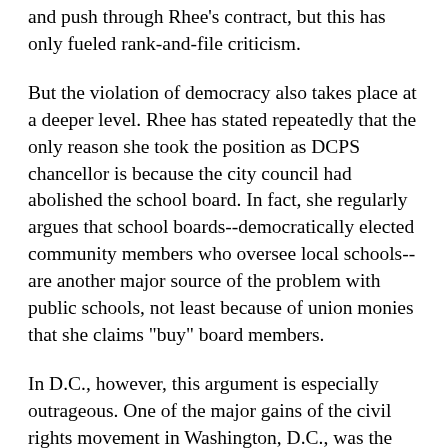and push through Rhee's contract, but this has only fueled rank-and-file criticism.
But the violation of democracy also takes place at a deeper level. Rhee has stated repeatedly that the only reason she took the position as DCPS chancellor is because the city council had abolished the school board. In fact, she regularly argues that school boards--democratically elected community members who oversee local schools--are another major source of the problem with public schools, not least because of union monies that she claims "buy" board members.
In D.C., however, this argument is especially outrageous. One of the major gains of the civil rights movement in Washington, D.C., was the formation of a democratically elected school board to oversee D.C. schools. To this day, D.C. does not enjoy rights as a state or any formal representation in Congress, and national lawmakers have veto power over city